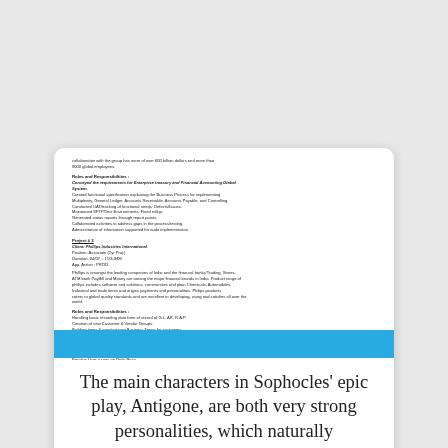collaboration with the group has more of over 600 billion dollars and more than 9000 global employees.
Roles and Responsibilities:
Conveyed the requirements for Enterprise treasury and Financial Accounting Global System. Created functional specification explaining the Business Process for implementing Multiplexity, General Ledger, Accounts Receivable, Accounts Payable, and Controlling. Conducted UAT/tracking of functional needs: Defects/ Issues. Maintained SFTP/Test Environments: Fixed rollup. Generated status reports through report points. Collaborated activities to address gaps in the process/testing. Administration of information supported for audit implementation
Project #3
Client: Phillips Industries International
Position: Associate (2yr Proj.)
Duration: 04/07 – 11/3-3/09
App. Action: PROD.
Phillips is amongst the leading companies of India and the financial banks/Trading, Stores, ATM bank PayBill and Money are among the major financial brands in India. Product range of phillips includes software and solutions, communities and plain Chemicals, Automobiles, Industrial and trade items and origins payments and personalities. Philips products caters to global quality standards and are excellent in developing, using and satisfies all over the world.
Roles and Responsibilities:
Handling basic recording data form of record of G.L, AR, R.A.P.
Creation of new Customer & Vendor Groups.
Building items & creating new Business Terms for customers.
Completion basis of AR, AM-AP and Asset Accounting.
Setting new Home Banks.
Linking payment setback for Automatic Payment Program.
Providing day-to-day operational and process support to team.
Resolve User issues on Daily Basis.
Keep all documentation up-to-date to have an clear point of view.
Custom Area Settings, Cost centers, Accounts Ranges of Cost/Center Accounting, Internal Order, and Profit Center Accounting.
The main characters in Sophocles' epic play, Antigone, are both very strong personalities, which naturally leads to conflict. Antigone and